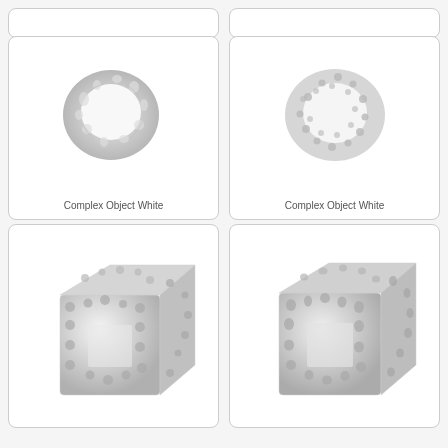[Figure (photo): Partially visible card at top-left, cropped]
[Figure (photo): Partially visible card at top-right, cropped]
[Figure (photo): 3D printed ring with organic mesh/lattice structure - Complex Object White, left]
Complex Object White
[Figure (photo): 3D printed ring with rounded mesh/lattice structure - Complex Object White, right]
Complex Object White
[Figure (photo): 3D printed cube with voronoi mesh/lattice structure, partially cropped at bottom, left]
[Figure (photo): 3D printed cube with voronoi mesh/lattice structure, partially cropped at bottom, right]